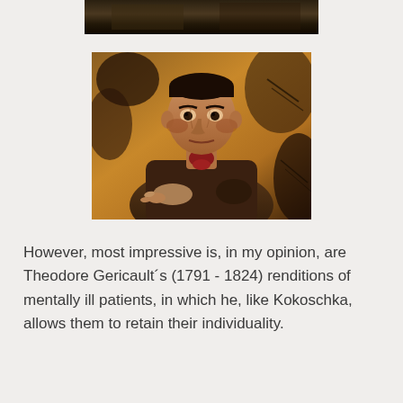[Figure (photo): Partial top portion of a dark painting, bottom edge visible, showing dark tones of brown and black]
[Figure (photo): Expressionist-style portrait painting of a young man with dark hair, gaunt face, wearing a brown jacket with red tie/cravat, gesturing with one hand, painted in warm amber and brown tones with dark background — appears to be an Oskar Kokoschka self-portrait or similar expressionist work]
However, most impressive is, in my opinion, are Theodore Gericault´s (1791 - 1824) renditions of mentally ill patients, in which he, like Kokoschka, allows them to retain their individuality.